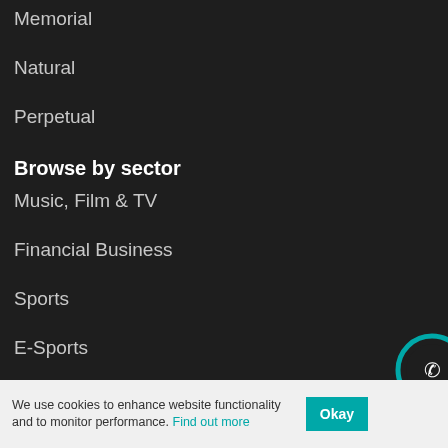Memorial
Natural
Perpetual
Browse by sector
Music, Film & TV
Financial Business
Sports
E-Sports
Advertising & Marketing
Automotive
We use cookies to enhance website functionality and to monitor performance. Find out more